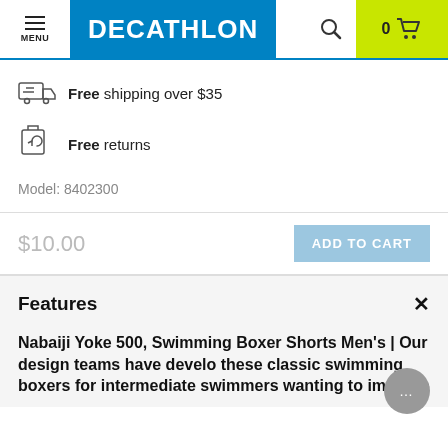DECATHLON
Free shipping over $35
Free returns
Model: 8402300
$10.00
ADD TO CART
Features
Nabaiji Yoke 500, Swimming Boxer Shorts Men's | Our design teams have develo these classic swimming boxers for intermediate swimmers wanting to improve